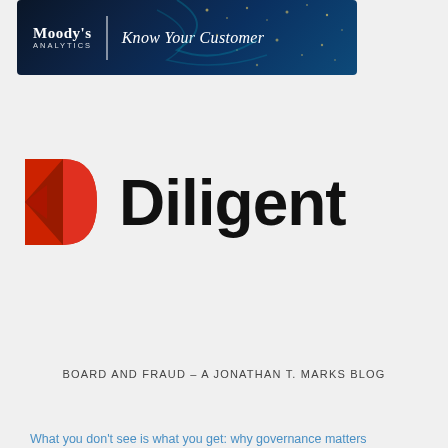[Figure (logo): Moody's Analytics | Know Your Customer banner with dark blue background and decorative dots/particles]
[Figure (logo): Diligent company logo with red geometric D icon and bold black wordmark 'Diligent']
BOARD AND FRAUD – A JONATHAN T. MARKS BLOG
What you don't see is what you get: why governance matters